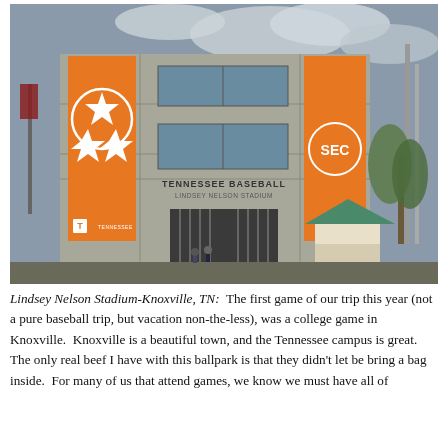[Figure (photo): Exterior photo of Lindsey Nelson Stadium – Tennessee Baseball facility in Knoxville, TN. The concrete building facade has large orange banners: left banner shows the Tennessee tri-star logo with T Tennessee text; right banner shows the SEC logo. Center of building reads 'TENNESSEE BASEBALL / LINDSEY NELSON STADIUM'. Iron gate entrance visible at bottom center with a green-roofed ticket booth to the right.]
Lindsey Nelson Stadium-Knoxville, TN:  The first game of our trip this year (not a pure baseball trip, but vacation non-the-less), was a college game in Knoxville.  Knoxville is a beautiful town, and the Tennessee campus is great.  The only real beef I have with this ballpark is that they didn't let be bring a bag inside.  For many of us that attend games, we know we must have all of